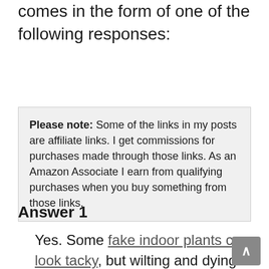comes in the form of one of the following responses:
Please note: Some of the links in my posts are affiliate links. I get commissions for purchases made through those links. As an Amazon Associate I earn from qualifying purchases when you buy something from those links.
Answer 1
Yes. Some fake indoor plants can look tacky, but wilting and dying plants that haven't been